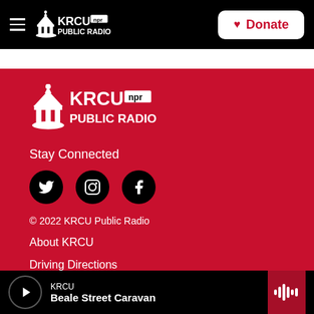KRCU PUBLIC RADIO — NPR — Donate
[Figure (logo): KRCU NPR Public Radio logo white on red background in footer]
Stay Connected
[Figure (infographic): Social media icons: Twitter, Instagram, Facebook — black circles on red background]
© 2022 KRCU Public Radio
About KRCU
Driving Directions
KRCU — Beale Street Caravan